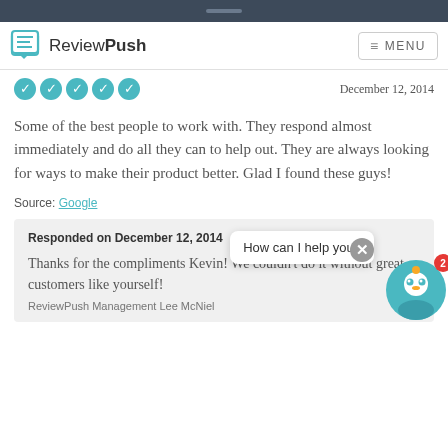ReviewPush — MENU
December 12, 2014
Some of the best people to work with. They respond almost immediately and do all they can to help out. They are always looking for ways to make their product better. Glad I found these guys!
Source: Google
Responded on December 12, 2014
Thanks for the compliments Kevin! We couldn't do it without great customers like yourself!
ReviewPush Management Lee McNiel